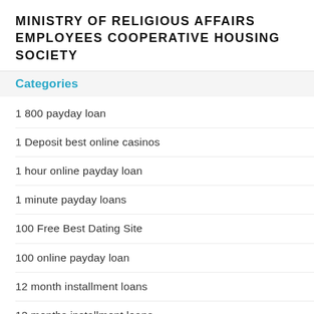MINISTRY OF RELIGIOUS AFFAIRS EMPLOYEES COOPERATIVE HOUSING SOCIETY
Categories
1 800 payday loan
1 Deposit best online casinos
1 hour online payday loan
1 minute payday loans
100 Free Best Dating Site
100 online payday loan
12 month installment loans
12 months installment loans
1500 pay day loans